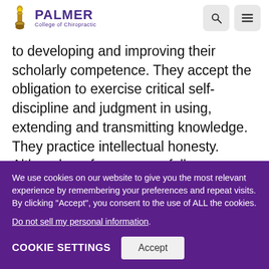[Figure (logo): Palmer College of Chiropractic logo with golden torch icon and purple text]
to developing and improving their scholarly competence. They accept the obligation to exercise critical self-discipline and judgment in using, extending and transmitting knowledge. They practice intellectual honesty. Although professors may follow subsidiary interests, these interests must never
We use cookies on our website to give you the most relevant experience by remembering your preferences and repeat visits. By clicking “Accept”, you consent to the use of ALL the cookies.
Do not sell my personal information.
COOKIE SETTINGS   Accept